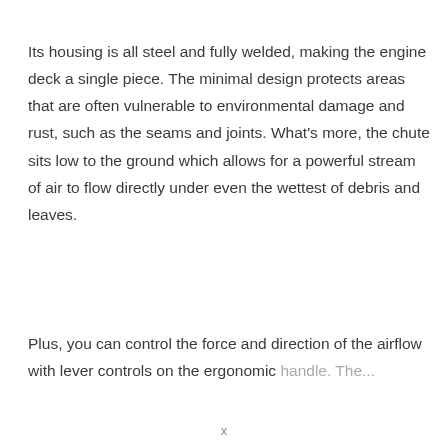Its housing is all steel and fully welded, making the engine deck a single piece. The minimal design protects areas that are often vulnerable to environmental damage and rust, such as the seams and joints. What's more, the chute sits low to the ground which allows for a powerful stream of air to flow directly under even the wettest of debris and leaves.
Plus, you can control the force and direction of the airflow with lever controls on the ergonomic handle. The...
x